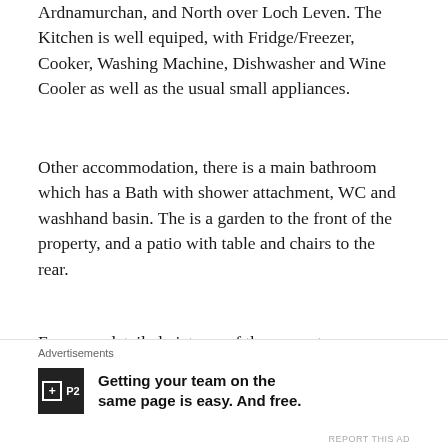Ardnamurchan, and North over Loch Leven. The Kitchen is well equiped, with Fridge/Freezer, Cooker, Washing Machine, Dishwasher and Wine Cooler as well as the usual small appliances.
Other accommodation, there is a main bathroom which has a Bath with shower attachment, WC and washhand basin. The is a garden to the front of the property, and a patio with table and chairs to the rear.
For more detailed pictures of the property, living areas and surroundings, please see the photos
[Figure (other): Advertisement banner for P2 productivity app with logo and text: Getting your team on the same page is easy. And free.]